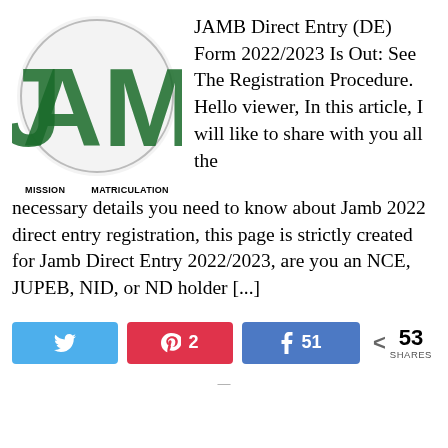[Figure (logo): JAMB logo with large green letters AMB, circular emblem background, and text MISSION MATRICULATION below]
JAMB Direct Entry (DE) Form 2022/2023 Is Out: See The Registration Procedure. Hello viewer, In this article, I will like to share with you all the necessary details you need to know about Jamb 2022 direct entry registration, this page is strictly created for Jamb Direct Entry 2022/2023, are you an NCE, JUPEB, NID, or ND holder [...]
[Figure (infographic): Social share buttons: Twitter (blue), Pinterest (red, count 2), Facebook (blue, count 51), and total share count 53 SHARES]